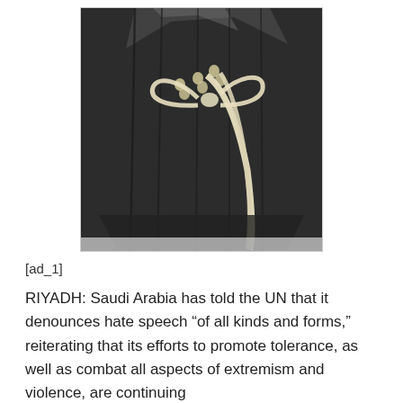[Figure (photo): A dark black garment (appears to be a corset or shorts) with cream/ivory ribbon lacing, laid flat on a white surface with light coming from above.]
[ad_1]
RIYADH: Saudi Arabia has told the UN that it denounces hate speech “of all kinds and forms,” reiterating that its efforts to promote tolerance, as well as combat all aspects of extremism and violence, are continuing